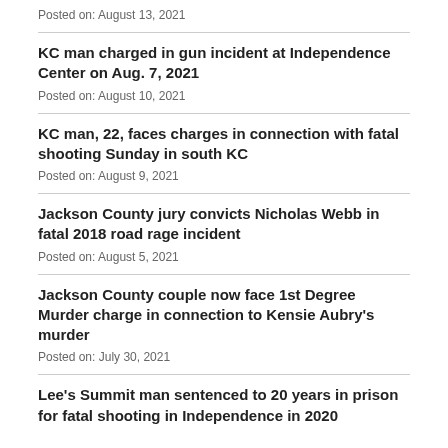Posted on: August 13, 2021
KC man charged in gun incident at Independence Center on Aug. 7, 2021
Posted on: August 10, 2021
KC man, 22, faces charges in connection with fatal shooting Sunday in south KC
Posted on: August 9, 2021
Jackson County jury convicts Nicholas Webb in fatal 2018 road rage incident
Posted on: August 5, 2021
Jackson County couple now face 1st Degree Murder charge in connection to Kensie Aubry's murder
Posted on: July 30, 2021
Lee's Summit man sentenced to 20 years in prison for fatal shooting in Independence in 2020